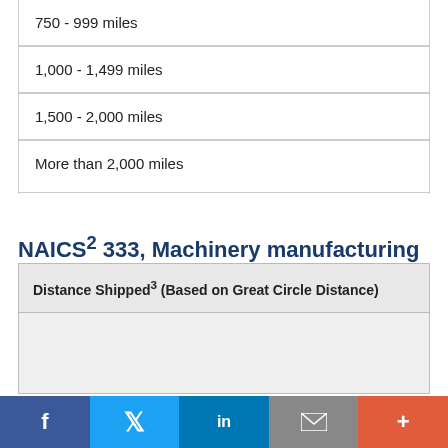| 750 - 999 miles |
| 1,000 - 1,499 miles |
| 1,500 - 2,000 miles |
| More than 2,000 miles |
NAICS² 333, Machinery manufacturing
| Distance Shipped³ (Based on Great Circle Distance) |
| --- |
f  [Twitter bird]  in  [envelope]  +